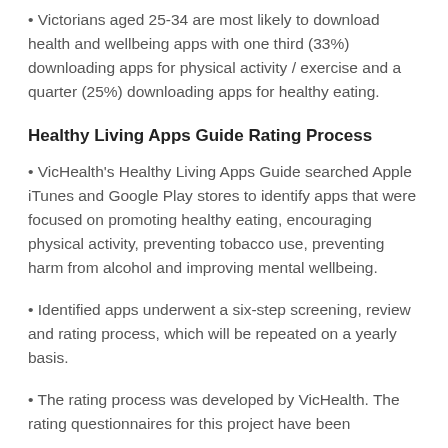• Victorians aged 25-34 are most likely to download health and wellbeing apps with one third (33%) downloading apps for physical activity / exercise and a quarter (25%) downloading apps for healthy eating.
Healthy Living Apps Guide Rating Process
• VicHealth's Healthy Living Apps Guide searched Apple iTunes and Google Play stores to identify apps that were focused on promoting healthy eating, encouraging physical activity, preventing tobacco use, preventing harm from alcohol and improving mental wellbeing.
• Identified apps underwent a six-step screening, review and rating process, which will be repeated on a yearly basis.
• The rating process was developed by VicHealth. The rating questionnaires for this project have been